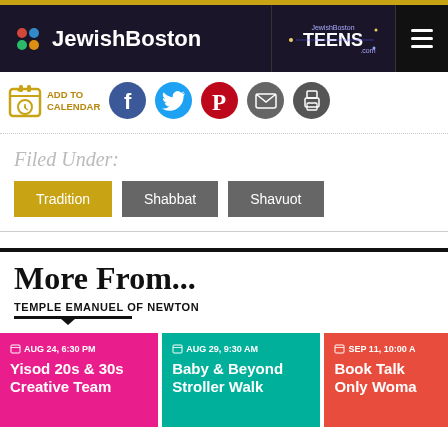JewishBoston | JewishBoston TEENS.com
[Figure (screenshot): Action bar with Add to Calendar icon and social sharing buttons: Facebook, Twitter, Pinterest, Email, Print]
Filed Under:
Tradition
Shabbat
Shavuot
More From...
TEMPLE EMANUEL OF NEWTON
AUG 24, 6:30 PM
Yisod 20s & 30s Creative Team
AUG 29, 9:30 AM
Baby & Beyond Stroller Walk
SEP 11, 10:00 A
Book Talk Only Woma